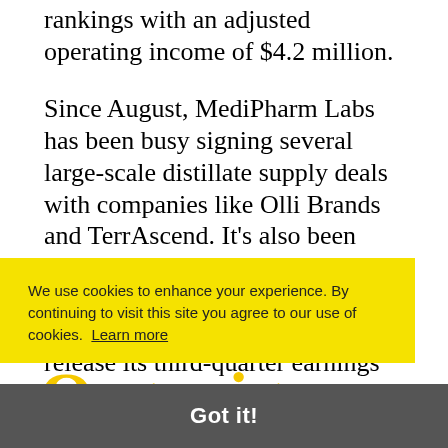rankings with an adjusted operating income of $4.2 million.
Since August, MediPharm Labs has been busy signing several large-scale distillate supply deals with companies like Olli Brands and TerrAscend. It's also been working on expanding its operations in Australia and Europe. The company is slated to release its third-quarter earnings on Nov. 12.
3. Organigram Holdings Inc. (TSX: OGI)
We use cookies to enhance your experience. By continuing to visit this site you agree to our use of cookies. Learn more
Got it!